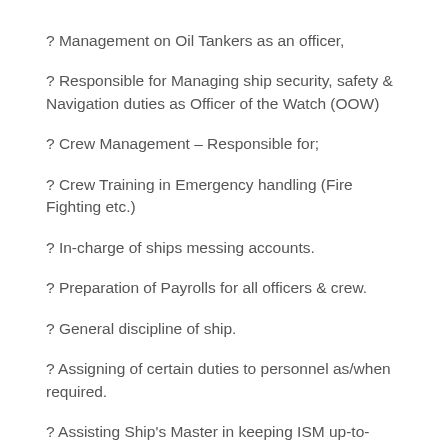? Management on Oil Tankers as an officer,
? Responsible for Managing ship security, safety & Navigation duties as Officer of the Watch (OOW)
? Crew Management – Responsible for;
? Crew Training in Emergency handling (Fire Fighting etc.)
? In-charge of ships messing accounts.
? Preparation of Payrolls for all officers & crew.
? General discipline of ship.
? Assigning of certain duties to personnel as/when required.
? Assisting Ship's Master in keeping ISM up-to-date.